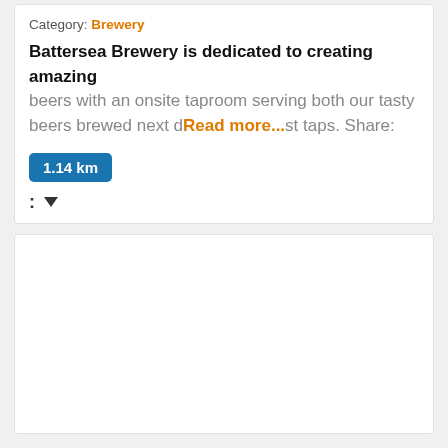Category: Brewery
Battersea Brewery is dedicated to creating amazing beers with an onsite taproom serving both our tasty beers brewed next d... Read more... st taps. Share:
1.14 km
: ▼
[Figure (other): Empty white card placeholder]